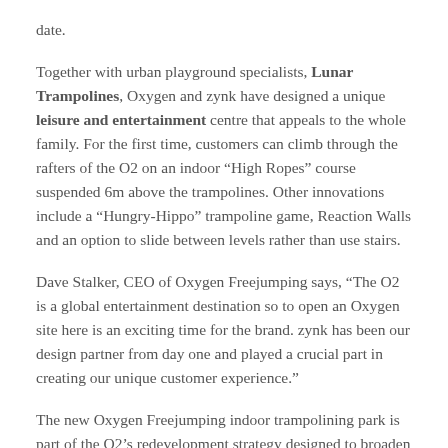date.
Together with urban playground specialists, Lunar Trampolines, Oxygen and zynk have designed a unique leisure and entertainment centre that appeals to the whole family. For the first time, customers can climb through the rafters of the O2 on an indoor “High Ropes” course suspended 6m above the trampolines. Other innovations include a “Hungry-Hippo” trampoline game, Reaction Walls and an option to slide between levels rather than use stairs.
Dave Stalker, CEO of Oxygen Freejumping says, “The O2 is a global entertainment destination so to open an Oxygen site here is an exciting time for the brand. zynk has been our design partner from day one and played a crucial part in creating our unique customer experience.”
The new Oxygen Freejumping indoor trampolining park is part of the O2’s redevelopment strategy designed to broaden its appeal beyond an events venue. It launches alongside the O2’s new ICON retail scheme which consists of outlet stores for